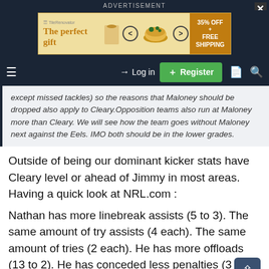ADVERTISEMENT
[Figure (infographic): Advertisement banner: 'The perfect gift' with food bowl image, navigation arrows, and '35% OFF + FREE SHIPPING' offer box. Close button (X) in top right.]
[Figure (screenshot): Website navigation bar with hamburger menu, Log in button, Register button (green), document icon, and search icon on dark navy background.]
except missed tackles) so the reasons that Maloney should be dropped also apply to Cleary.Opposition teams also run at Maloney more than Cleary. We will see how the team goes without Maloney next against the Eels. IMO both should be in the lower grades.
Outside of being our dominant kicker stats have Cleary level or ahead of Jimmy in most areas. Having a quick look at NRL.com :
Nathan has more linebreak assists (5 to 3). The same amount of try assists (4 each). The same amount of tries (2 each). He has more offloads (13 to 2). He has conceded less penalties (3 to 13). Missed less tackles (everyone in the comp has). Nathan has engaged the